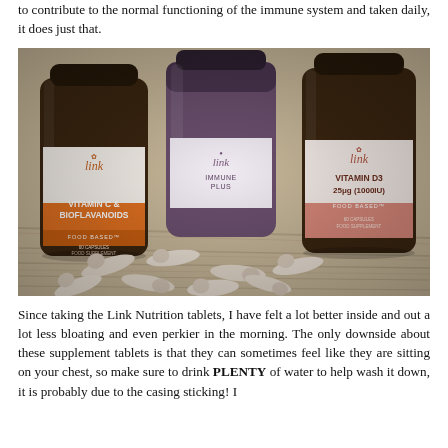to contribute to the normal functioning of the immune system and taken daily, it does just that.
[Figure (photo): Three dark amber supplement bottles from Link Nutrition arranged on a wicker surface with capsule pills scattered in front. Left bottle: Vitamin C & Bioflavanoids (orange label, Food Based), center bottle: purple label partially visible, right bottle: Vitamin D3 25μg (1000IU) (pink/salmon label, Food Based).]
Since taking the Link Nutrition tablets, I have felt a lot better inside and out a lot less bloating and even perkier in the morning. The only downside about these supplement tablets is that they can sometimes feel like they are sitting on your chest, so make sure to drink PLENTY of water to help wash it down, it is probably due to the casing sticking! I